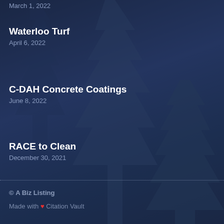Waterloo Turf
April 6, 2022
C-DAH Concrete Coatings
June 8, 2022
RACE to Clean
December 30, 2021
© A Biz Listing
Made with ♥ Citation Vault